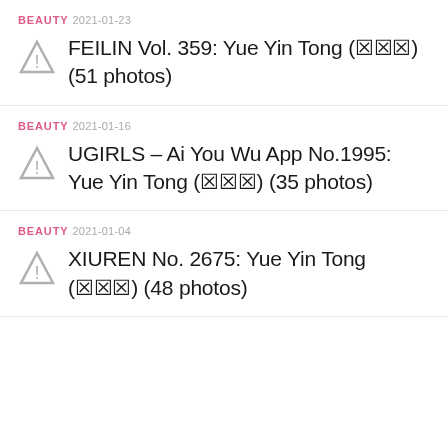BEAUTY 2021-01-23 | FEILIN Vol. 359: Yue Yin Tong (🀆🀆🀆) (51 photos)
BEAUTY 2021-01-16 | UGIRLS – Ai You Wu App No.1995: Yue Yin Tong (🀆🀆🀆) (35 photos)
BEAUTY 2021-01-04 | XIUREN No. 2675: Yue Yin Tong (🀆🀆🀆) (48 photos)